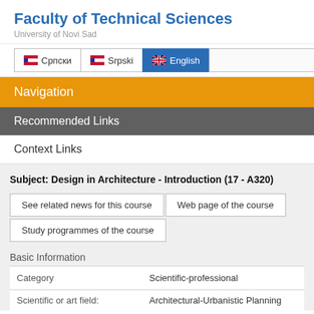Faculty of Technical Sciences
University of Novi Sad
[Figure (screenshot): Language selection bar with Srpski (Cyrillic), Srpski (Latin), and English (active/highlighted in blue) buttons, plus a search input box]
Navigation
Recommended Links
Context Links
Subject: Design in Architecture - Introduction (17 - A320)
See related news for this course
Web page of the course
Study programmes of the course
Basic Information
| Category | Scientific-professional |
| --- | --- |
| Scientific or art field: | Architectural-Urbanistic Planning |